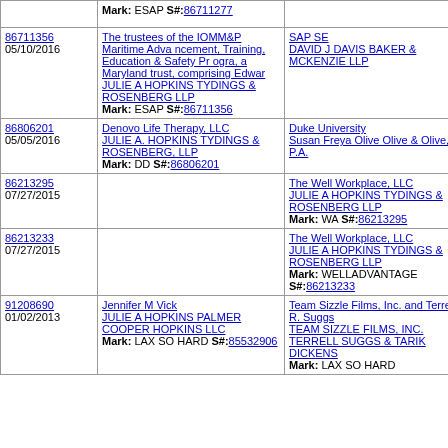| Serial/Date | Applicant/Attorney/Mark | Defendant/Attorney/Mark |
| --- | --- | --- |
|  | Mark: ESAP S#:86711277 |  |
| 86711356
05/10/2016 | The trustees of the IOMM&P Maritime Advancement, Training, Education & Safety Program, a Maryland trust, comprising Edwar
JULIE A HOPKINS TYDINGS & ROSENBERG LLP
Mark: ESAP S#:86711356 | SAP SE
DAVID J DAVIS BAKER & MCKENZIE LLP |
| 86806201
05/05/2016 | Denovo Life Therapy, LLC
JULIE A. HOPKINS TYDINGS & ROSENBERG, LLP
Mark: DD S#:86806201 | Duke University
Susan Freya Olive Olive & Olive, P.A. |
| 86213295
07/27/2015 |  | The Well Workplace, LLC
JULIE A HOPKINS TYDINGS & ROSENBERG LLP
Mark: WA S#:86213295 |
| 86213233
07/27/2015 |  | The Well Workplace, LLC
JULIE A HOPKINS TYDINGS & ROSENBERG LLP
Mark: WELLADVANTAGE S#:86213233 |
| 91208690
01/02/2013 | Jennifer M Vick
JULIE A HOPKINS PALMER COOPER HOPKINS LLC
Mark: LAX SO HARD S#:85532906 | Team Sizzle Films, Inc. and Terrell R. Suggs
TEAM SIZZLE FILMS, INC. TERRELL SUGGS & TARIK DICKENS
Mark: LAX SO HARD |